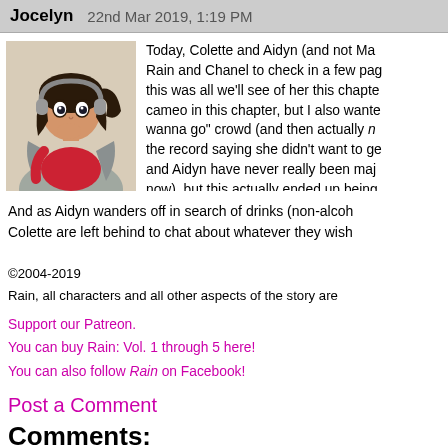Jocelyn  22nd Mar 2019, 1:19 PM
[Figure (illustration): Anime-style illustration of a girl with dark hair in a ponytail, wearing headphones, a red top and grey jacket, touching her chin thoughtfully]
Today, Colette and Aidyn (and not Ma... Rain and Chanel to check in a few pag... this was all we'll see of her this chapte... cameo in this chapter, but I also wante... wanna go" crowd (and then actually n... the record saying she didn't want to ge... and Aidyn have never really been maj... now), but this actually ended up being...
And as Aidyn wanders off in search of drinks (non-alcoh... Colette are left behind to chat about whatever they wish...
©2004-2019
Rain, all characters and all other aspects of the story are...
Support our Patreon.
You can buy Rain: Vol. 1 through 5 here!
You can also follow Rain on Facebook!
Post a Comment
Comments: